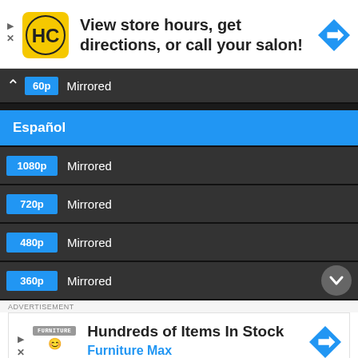[Figure (screenshot): Top advertisement banner with HC logo, text 'View store hours, get directions, or call your salon!' and blue arrow icon]
[Figure (screenshot): Dark UI panel showing a dropdown/menu with resolution options. Top row has chevron-up, '60p' badge and 'Mirrored'. Blue highlighted row shows 'Español'. Below are rows: 1080p Mirrored, 720p Mirrored, 480p Mirrored, 360p Mirrored. Chevron-down button on right side.]
ADVERTISEMENT
[Figure (screenshot): Bottom advertisement banner: Furniture store logo with emoji, headline 'Hundreds of Items In Stock', subtext 'Furniture Max' in blue, and blue arrow icon. Play and X icons on the left.]